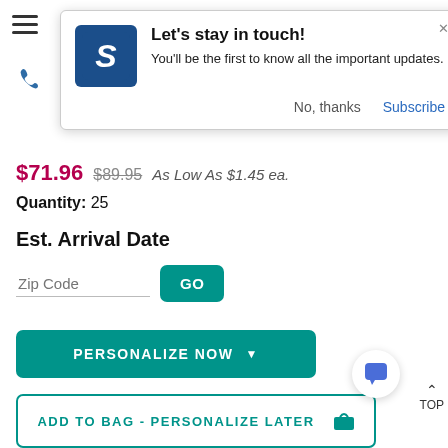[Figure (screenshot): Mobile e-commerce product page screenshot with a notification popup overlay. The popup has a blue square logo with a stylized 'S', title 'Let's stay in touch!', body text 'You'll be the first to know all the important updates.', and buttons 'No, thanks' and 'Subscribe'. The underlying page shows a product price of $71.96 (was $89.95), quantity 25, Est. Arrival Date section with zip code input and GO button, a teal PERSONALIZE NOW button, and an ADD TO BAG - PERSONALIZE LATER button.]